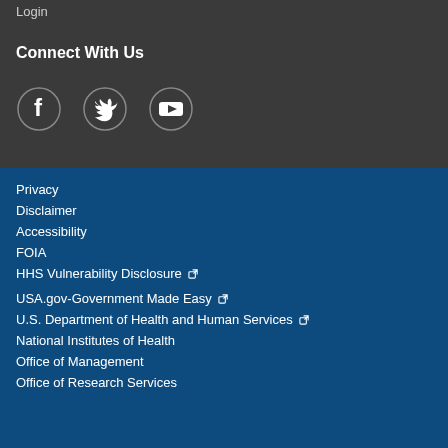Login
Connect With Us
[Figure (illustration): Social media icons: Facebook, Twitter, YouTube circles]
Privacy
Disclaimer
Accessibility
FOIA
HHS Vulnerability Disclosure (external link)
USA.gov-Government Made Easy (external link)
U.S. Department of Health and Human Services (external link)
National Institutes of Health
Office of Management
Office of Research Services